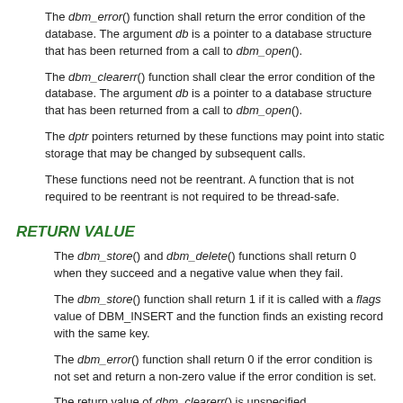The dbm_error() function shall return the error condition of the database. The argument db is a pointer to a database structure that has been returned from a call to dbm_open().
The dbm_clearerr() function shall clear the error condition of the database. The argument db is a pointer to a database structure that has been returned from a call to dbm_open().
The dptr pointers returned by these functions may point into static storage that may be changed by subsequent calls.
These functions need not be reentrant. A function that is not required to be reentrant is not required to be thread-safe.
RETURN VALUE
The dbm_store() and dbm_delete() functions shall return 0 when they succeed and a negative value when they fail.
The dbm_store() function shall return 1 if it is called with a flags value of DBM_INSERT and the function finds an existing record with the same key.
The dbm_error() function shall return 0 if the error condition is not set and return a non-zero value if the error condition is set.
The return value of dbm_clearerr() is unspecified.